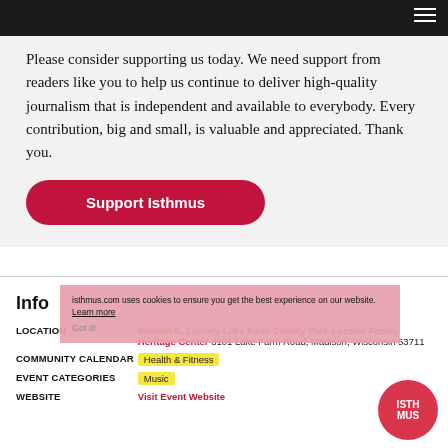Please consider supporting us today. We need support from readers like you to help us continue to deliver high-quality journalism that is independent and available to everybody. Every contribution, big and small, is valuable and appreciated. Thank you.
Support Isthmus
Info
LOCATION: William G. Lunney Lake Farm County Park-Lussier Family Heritage Center 3101 Lake Farm Road, Madison, Wisconsin 53711
COMMUNITY CALENDAR: Health & Fitness
EVENT CATEGORIES: Music
WEBSITE: Visit Event Website
isthmus.com uses cookies to ensure you get the best experience on our website. Learn more Got it!